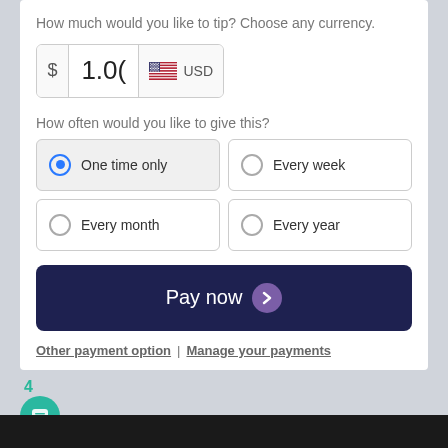How much would you like to tip? Choose any currency.
[Figure (screenshot): Amount input field showing $ 1.00 and USD with US flag]
How often would you like to give this?
One time only (selected)
Every week
Every month
Every year
Pay now
Other payment option | Manage your payments
4